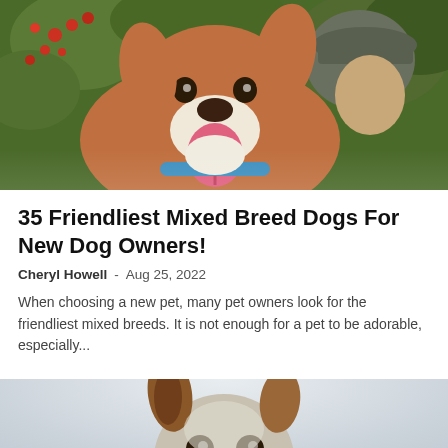[Figure (photo): A brown and white mixed breed dog with blue collar, tongue out, being held by a person wearing a grey cap, with red berries and green foliage in background]
35 Friendliest Mixed Breed Dogs For New Dog Owners!
Cheryl Howell  -  Aug 25, 2022
When choosing a new pet, many pet owners look for the friendliest mixed breeds. It is not enough for a pet to be adorable, especially...
[Figure (photo): A small dog photographed from above against a light grey/white background, showing the top of its head and ears]